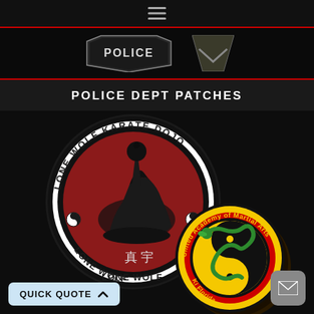Navigation menu (hamburger icon)
[Figure (illustration): Police department patches promotional banner with POLICE text badge and chevron insignia on dark background]
POLICE DEPT PATCHES
[Figure (photo): Two embroidered martial arts patches: Lone Wolf Karate Dojo circular patch (red/black/white with howling wolf silhouette and yin-yang symbols) and United Academy of Martial Arts circular patch (yellow/red/black with yin-yang dragon design) from Kissimmee, Florida]
QUICK QUOTE ^